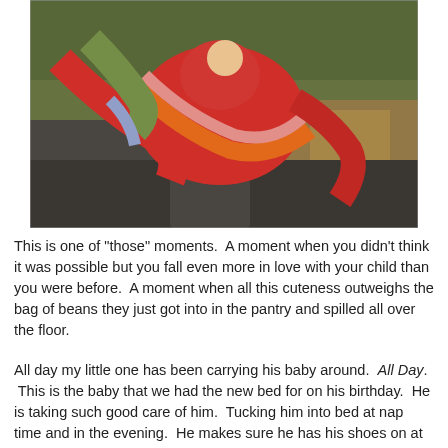[Figure (photo): A close-up outdoor photo of a young child carrying a baby doll in a red fabric wrap/carrier sling. The child is wearing dark pants and the sling is red with orange and pink stripes. Green foliage and autumn leaves are visible in the background.]
This is one of "those" moments.  A moment when you didn't think it was possible but you fall even more in love with your child than you were before.  A moment when all this cuteness outweighs the bag of beans they just got into in the pantry and spilled all over the floor.
All day my little one has been carrying his baby around.  All Day.  This is the baby that we had the new bed for on his birthday.  He is taking such good care of him.  Tucking him into bed at nap time and in the evening.  He makes sure he has his shoes on at all times when not sleeping.   He likes us all to be quiet when the baby